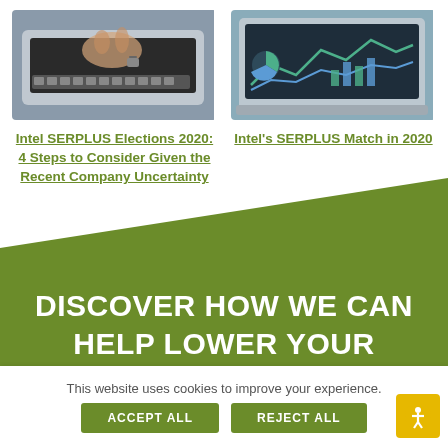[Figure (photo): Hands typing on a laptop keyboard with a watch visible]
[Figure (photo): Laptop showing a dashboard with charts and graphs]
Intel SERPLUS Elections 2020: 4 Steps to Consider Given the Recent Company Uncertainty
Intel's SERPLUS Match in 2020
DISCOVER HOW WE CAN HELP LOWER YOUR
This website uses cookies to improve your experience.
ACCEPT ALL
REJECT ALL